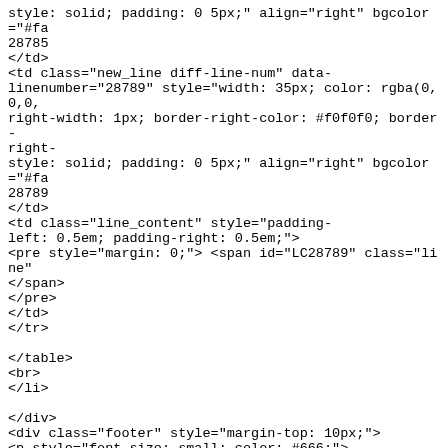style: solid; padding: 0 5px;" align="right" bgcolor="#fa
28785
</td>
<td class="new_line diff-line-num" data-
linenumber="28789" style="width: 35px; color: rgba(0,0,0,
right-width: 1px; border-right-color: #f0f0f0; border-
right-
style: solid; padding: 0 5px;" align="right" bgcolor="#fa
28789
</td>
<td class="line_content" style="padding-
left: 0.5em; padding-right: 0.5em;">
<pre style="margin: 0;"> <span id="LC28789" class="line"
</span>
</pre>
</td>
</tr>

</table>
<br>
</li>

</div>
<div class="footer" style="margin-top: 10px;">
<p style="font-size: small; color: #666;">
–
<br>
<a href="https://salsa.debian.org/reproducible-
builds/reproducible-
notes/-/commit/1a6fabcea4a329ec1530ce8097b8c023819ea4e5":